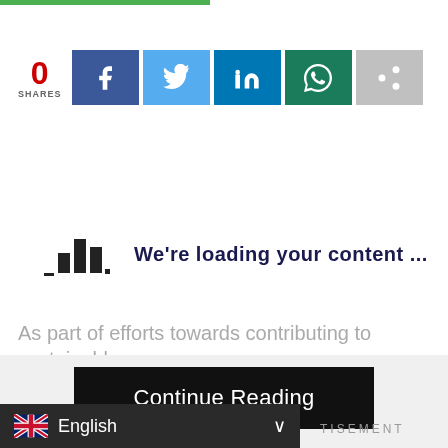[Figure (screenshot): Green progress bar at top of page]
0 SHARES
[Figure (screenshot): Social share buttons: Facebook, Twitter, LinkedIn, WhatsApp, Share]
[Figure (infographic): Bar chart loading icon with text: We're loading your content ...]
As part of efforts towards contributing to sustainable
Continue Reading
[Figure (screenshot): Language selector showing English with UK flag]